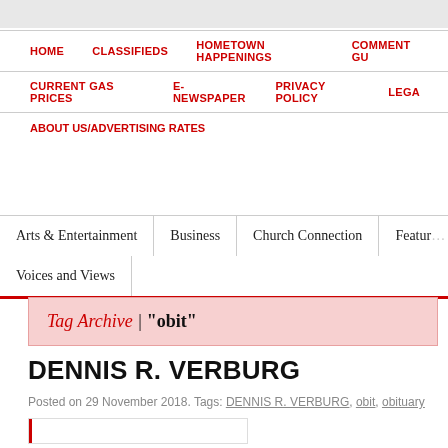HOME  CLASSIFIEDS  HOMETOWN HAPPENINGS  COMMENT GU...
CURRENT GAS PRICES  E-NEWSPAPER  PRIVACY POLICY  LEGA...
ABOUT US/ADVERTISING RATES
Arts & Entertainment  Business  Church Connection  Feature...  Voices and Views
Tag Archive | "obit"
DENNIS R. VERBURG
Posted on 29 November 2018. Tags: DENNIS R. VERBURG, obit, obituary